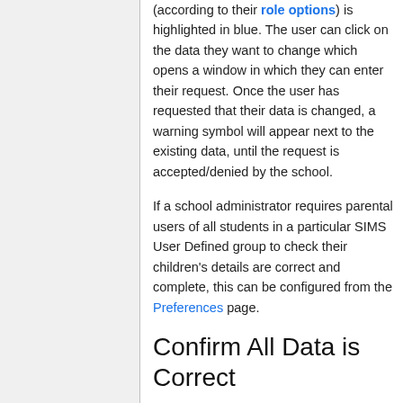(according to their role options) is highlighted in blue. The user can click on the data they want to change which opens a window in which they can enter their request. Once the user has requested that their data is changed, a warning symbol will appear next to the existing data, until the request is accepted/denied by the school.
If a school administrator requires parental users of all students in a particular SIMS User Defined group to check their children's details are correct and complete, this can be configured from the Preferences page.
Confirm All Data is Correct